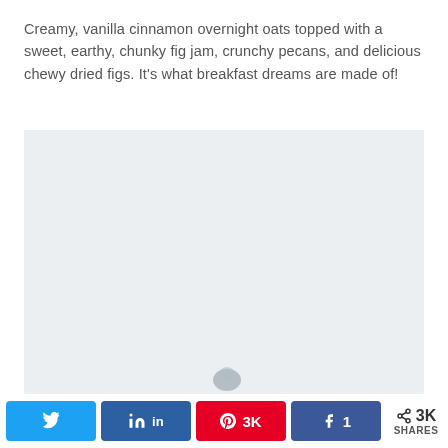Creamy, vanilla cinnamon overnight oats topped with a sweet, earthy, chunky fig jam, crunchy pecans, and delicious chewy dried figs. It's what breakfast dreams are made of!
[Figure (photo): Large light gray placeholder image area for a food photo, likely showing overnight oats with fig jam and nuts. A partial dark object (fig or nut) is visible at the bottom center.]
Twitter share button | LinkedIn share button | Pinterest 3K share button | Facebook 1 share button | < 3K SHARES